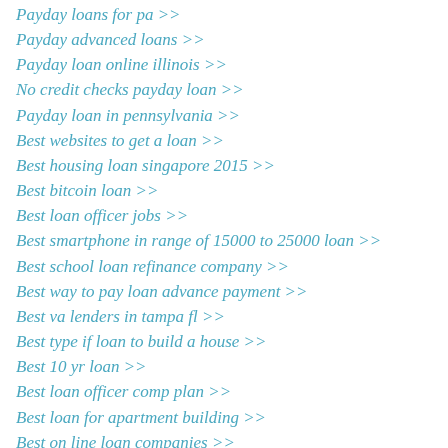Payday loans for pa >>
Payday advanced loans >>
Payday loan online illinois >>
No credit checks payday loan >>
Payday loan in pennsylvania >>
Best websites to get a loan >>
Best housing loan singapore 2015 >>
Best bitcoin loan >>
Best loan officer jobs >>
Best smartphone in range of 15000 to 25000 loan >>
Best school loan refinance company >>
Best way to pay loan advance payment >>
Best va lenders in tampa fl >>
Best type if loan to build a house >>
Best 10 yr loan >>
Best loan officer comp plan >>
Best loan for apartment building >>
Best on line loan companies >>
What is the best college loan company >>